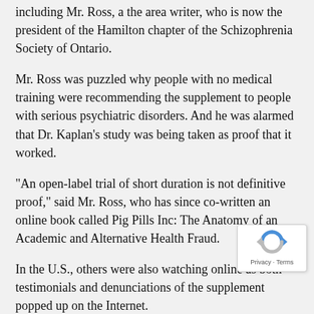including Mr. Ross, a the area writer, who is now the president of the Hamilton chapter of the Schizophrenia Society of Ontario.
Mr. Ross was puzzled why people with no medical training were recommending the supplement to people with serious psychiatric disorders. And he was alarmed that Dr. Kaplan's study was being taken as proof that it worked.
"An open-label trial of short duration is not definitive proof," said Mr. Ross, who has since co-written an online book called Pig Pills Inc: The Anatomy of an Academic and Alternative Health Fraud.
In the U.S., others were also watching online as both testimonials and denunciations of the supplement popped up on the Internet.
Elizabeth Woeckner, a board member of Citizens for Responsible Care and Research, an organization concerned about the protection of human subjects in